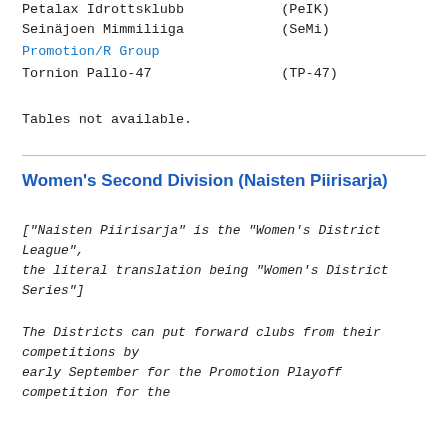Petalax Idrottsklubb    (PeIK)
Seinäjoen Mimmiliiga    (SeMi)
Promotion/R Group
Tornion Pallo-47    (TP-47)
Tables not available.
Women's Second Division (Naisten Piirisarja)
["Naisten Piirisarja" is the "Women's District League",
the literal translation being "Women's District Series"]
The Districts can put forward clubs from their competitions by
early September for the Promotion Playoff competition for the